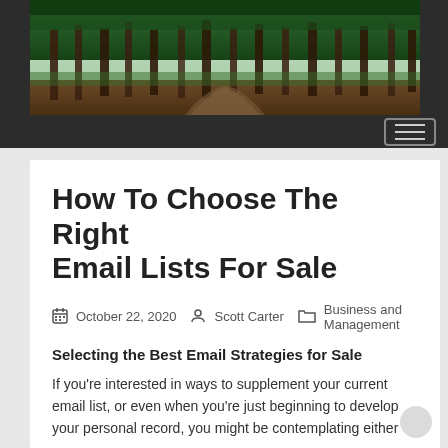[Figure (photo): Wide panoramic photo of a dense green forest with tall trees and dirt paths]
How To Choose The Right Email Lists For Sale
October 22, 2020   Scott Carter   Business and Management
Selecting the Best Email Strategies for Sale
If you're interested in ways to supplement your current email list, or even when you're just beginning to develop your personal record, you might be contemplating either